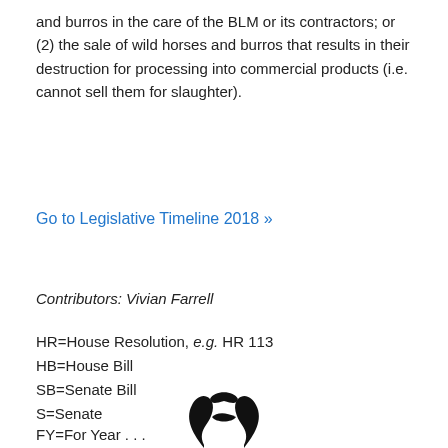and burros in the care of the BLM or its contractors; or (2) the sale of wild horses and burros that results in their destruction for processing into commercial products (i.e. cannot sell them for slaughter).
Go to Legislative Timeline 2018 »
Contributors: Vivian Farrell
HR=House Resolution, e.g. HR 113
HB=House Bill
SB=Senate Bill
S=Senate
FY=For Year . . .
[Figure (logo): Black stylized logo mark — an abstract shape resembling intertwined horses or flame, partially visible at bottom of page]